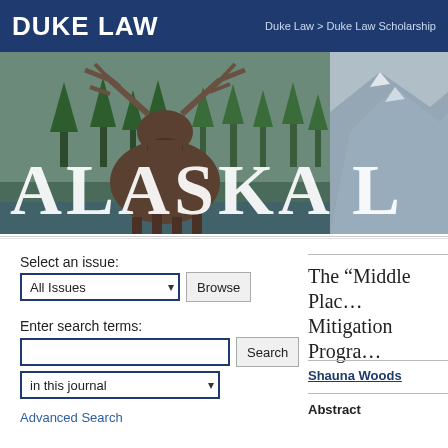DUKE LAW | Duke Law > Duke Law Scholarship
[Figure (photo): Banner image showing a moose in a forested Alaska landscape with mountains in the background. Large white text reads 'ALASKA L' across the bottom of the image.]
Select an issue:
All Issues  Browse
Enter search terms:
Search  in this journal
Advanced Search
The “Middle Plac… Mitigation Progra…
Shauna Woods
Abstract